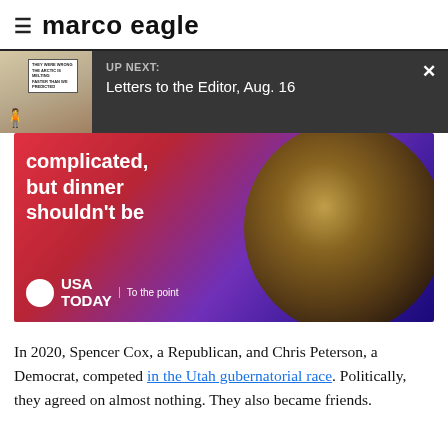≡ marco eagle
[Figure (screenshot): UP NEXT overlay panel on top of editorial cartoon thumbnail. Dark gray overlay shows 'UP NEXT:' label and 'Letters to the Editor, Aug. 16' with a close X button. Behind/left is a small editorial cartoon strip.]
[Figure (photo): USA TODAY advertisement showing pasta in a bowl with text 'complicated, but dinner shouldn't be' and the USA TODAY logo with tagline 'To the point' on a red-to-purple gradient background.]
In 2020, Spencer Cox, a Republican, and Chris Peterson, a Democrat, competed in the Utah gubernatorial race. Politically, they agreed on almost nothing. They also became friends.